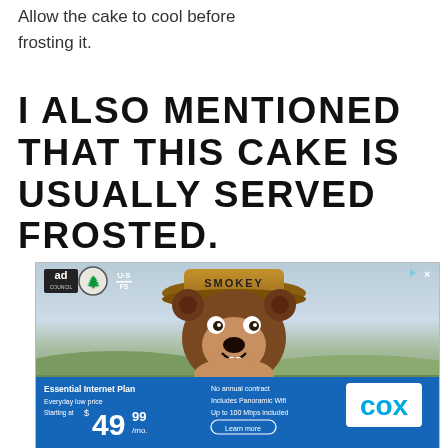Allow the cake to cool before frosting it.
I ALSO MENTIONED THAT THIS CAKE IS USUALLY SERVED FROSTED.
[Figure (screenshot): Smokey Bear animated ad with Ad Council and US Forest Service logos, showing cartoon bear wearing ranger hat labeled SMOKEY, with mountain background. Below is a Cox internet advertisement banner: Essential Internet Plan, Everyday low price, Starting at $49.99/mo., No annual contract, Includes Panoramic Wifi, Up to 100 Mbps included, Learn more button, Cox logo.]